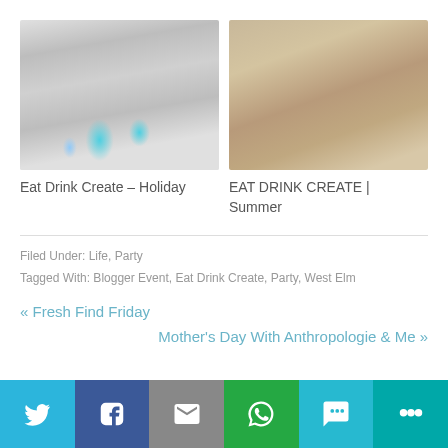[Figure (photo): Glittery silver cone Christmas trees with teal/blue ornament balls on a white surface]
Eat Drink Create – Holiday
[Figure (photo): Hands holding a kraft paper box with wooden fork and spoon utensils tied with red and white string]
EAT DRINK CREATE | Summer
Filed Under: Life, Party
Tagged With: Blogger Event, Eat Drink Create, Party, West Elm
« Fresh Find Friday
Mother’s Day With Anthropologie & Me »